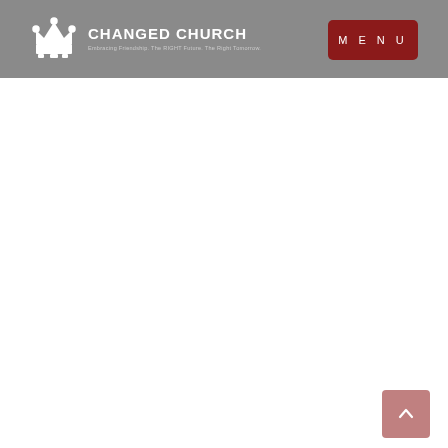CHANGED CHURCH — Embracing Friendship. The RIGHT Future. The Right Tomorrow.
[Figure (logo): Changed Church logo with crown icon and tagline]
[Figure (other): MENU button (dark red/maroon rounded rectangle)]
[Figure (other): Back to top arrow button (muted rose/pink rounded square) at bottom right]